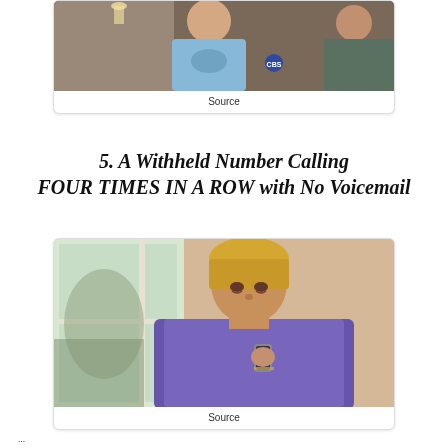[Figure (photo): TV show still — smiling person in blue graphic t-shirt, partially visible second person on right, indoor setting with CBS logo visible]
Source
5. A Withheld Number Calling FOUR TIMES IN A ROW with No Voicemail
[Figure (photo): Person with short blonde hair wearing purple top, looking down at a phone near a window, appearing distressed or emotional]
Source
...